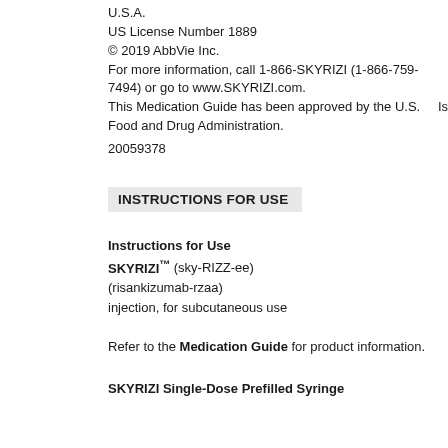U.S.A.
US License Number 1889
© 2019 AbbVie Inc.
For more information, call 1-866-SKYRIZI (1-866-759-7494) or go to www.SKYRIZI.com.
This Medication Guide has been approved by the U.S. Food and Drug Administration.    Issued: 04/2019
20059378
INSTRUCTIONS FOR USE
Instructions for Use
SKYRIZI™ (sky-RIZZ-ee)
(risankizumab-rzaa)
injection, for subcutaneous use
Refer to the Medication Guide for product information.
SKYRIZI Single-Dose Prefilled Syringe